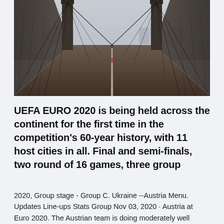[Figure (photo): Perspective view down the center of a suspension bridge with wooden walkway, cables converging to towers, city skyline in background, muted/desaturated tones]
UEFA EURO 2020 is being held across the continent for the first time in the competition's 60-year history, with 11 host cities in all. Final and semi-finals, two round of 16 games, three group
2020, Group stage - Group C. Ukraine --Austria Menu. Updates Line-ups Stats Group Nov 03, 2020 · Austria at Euro 2020. The Austrian team is doing moderately well